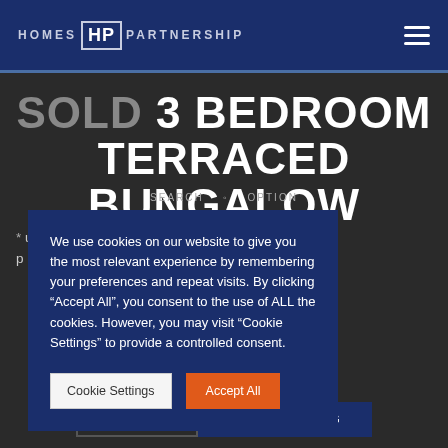HOMES HP PARTNERSHIP
SOLD 3 BEDROOM TERRACED BUNGALOW
use the 24 hour om bungalow is y to it, so it is rs needing a s and investors 3% yield. Click
We use cookies on our website to give you the most relevant experience by remembering your preferences and repeat visits. By clicking "Accept All", you consent to the use of ALL the cookies. However, you may visit "Cookie Settings" to provide a controlled consent.
Cookie Settings | Accept All
EXPLORE | BOOK A VIEWING